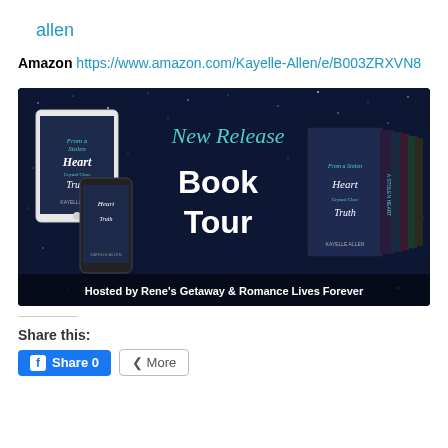allen
Amazon https://www.amazon.com/Kayelle-Allen/e/B003ZRXVN8
[Figure (illustration): Book tour promotional banner with dark starry night sky background. Left side shows a tablet and phone displaying book covers for 'From a Stolen Heart to Crystal Clear Truth' by Kayelle Allen. Center shows 'New Release' in teal script and 'Book Tour' in large white bold text. Right side shows physical book box set. Bottom text reads 'Hosted by Rene's Getaway & Romance Lives Forever'.]
Share this:
Share 0
More